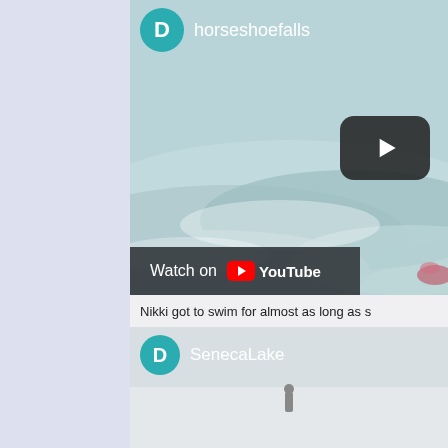[Figure (screenshot): Screenshot of a YouTube embedded video showing horseshoefalls channel with a teal/blue-green water scene thumbnail and a play button. A 'Watch on YouTube' bar appears at the bottom left.]
Nikki got to swim for almost as long as s
[Figure (screenshot): Screenshot of a second YouTube embedded video showing SenecaLake channel with a light grey/white winter scene thumbnail.]